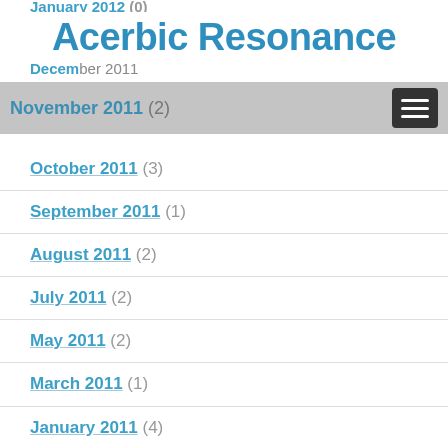January 2012 (0)
Acerbic Resonance
December 2011
November 2011 (2)
October 2011 (3)
September 2011 (1)
August 2011 (2)
July 2011 (2)
May 2011 (2)
March 2011 (1)
January 2011 (4)
December 2010 (2)